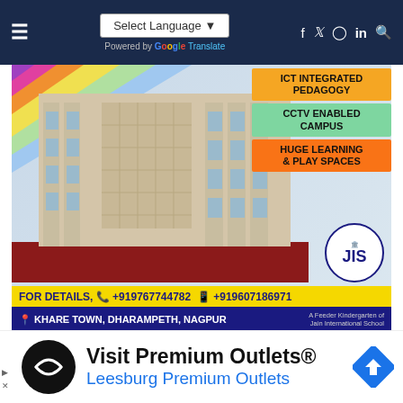Select Language | Powered by Google Translate | Social icons: f, Twitter, Instagram, in, Search
[Figure (photo): School building advertisement for JIS - Jain International School (Feeder Kindergarten). Multi-storey building render. Features: ICT INTEGRATED PEDAGOGY, CCTV ENABLED CAMPUS, HUGE LEARNING & PLAY SPACES. Phone: +919767744782, +919607186971. Location: Khare Town, Dharampeth, Nagpur.]
[Figure (other): Collapsed dropdown/accordion element with a chevron-down icon]
[Figure (other): Advertisement: Visit Premium Outlets® — Leesburg Premium Outlets. Black circular logo with double-arrow icon. Blue road-sign arrow icon on right.]